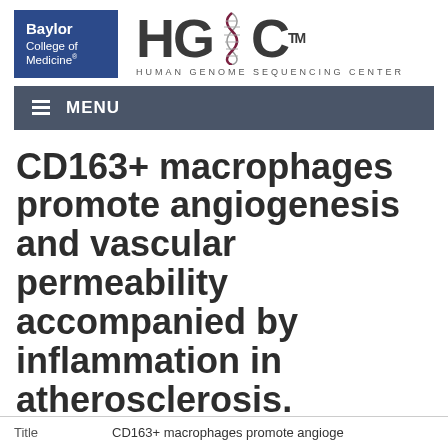[Figure (logo): Baylor College of Medicine logo (dark blue box with white text) and HGSC Human Genome Sequencing Center logo]
MENU
CD163+ macrophages promote angiogenesis and vascular permeability accompanied by inflammation in atherosclerosis.
| Title |  |
| --- | --- |
| Title | CD163+ macrophages promote angioge |